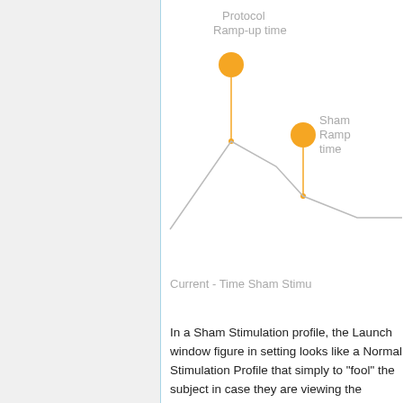[Figure (continuous-plot): Current-Time Sham Stimulation diagram showing a waveform with a peak, annotated with 'Protocol Ramp-up time' marker (orange circle) at the ascending portion and 'Sham Ramp time' marker (orange circle) at the descending portion, connected by vertical orange lines to the waveform.]
Current - Time Sham Stimu...
In a Sham Stimulation profile, the Launch window figure in setting looks like a Normal Stimulation Profile that simply to "fool" the subject in case they are viewing the stimulation protocol but